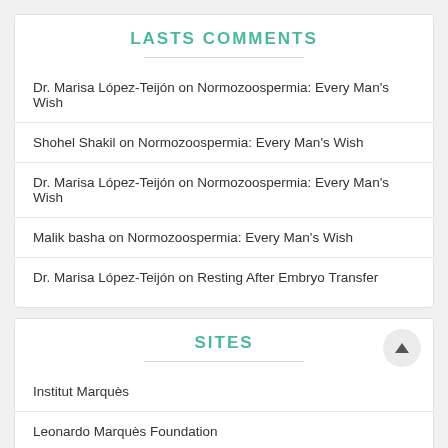LASTS COMMENTS
Dr. Marisa López-Teijón on Normozoospermia: Every Man's Wish
Shohel Shakil on Normozoospermia: Every Man's Wish
Dr. Marisa López-Teijón on Normozoospermia: Every Man's Wish
Malik basha on Normozoospermia: Every Man's Wish
Dr. Marisa López-Teijón on Resting After Embryo Transfer
SITES
Institut Marquès
Leonardo Marquès Foundation